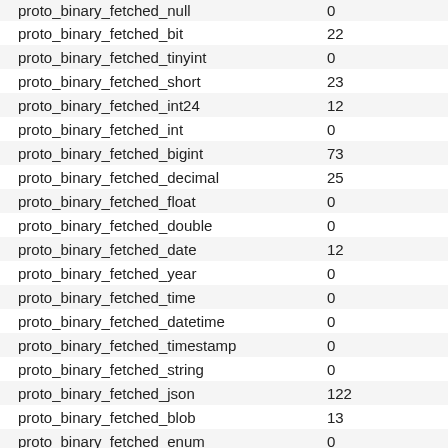| name | value |
| --- | --- |
| proto_binary_fetched_null | 0 |
| proto_binary_fetched_bit | 22 |
| proto_binary_fetched_tinyint | 0 |
| proto_binary_fetched_short | 23 |
| proto_binary_fetched_int24 | 12 |
| proto_binary_fetched_int | 0 |
| proto_binary_fetched_bigint | 73 |
| proto_binary_fetched_decimal | 25 |
| proto_binary_fetched_float | 0 |
| proto_binary_fetched_double | 0 |
| proto_binary_fetched_date | 12 |
| proto_binary_fetched_year | 0 |
| proto_binary_fetched_time | 0 |
| proto_binary_fetched_datetime | 0 |
| proto_binary_fetched_timestamp | 0 |
| proto_binary_fetched_string | 0 |
| proto_binary_fetched_json | 122 |
| proto_binary_fetched_blob | 13 |
| proto_binary_fetched_enum | 0 |
| proto_binary_fetched_set | 0 |
| proto_binary_fetched_geometry | 0 |